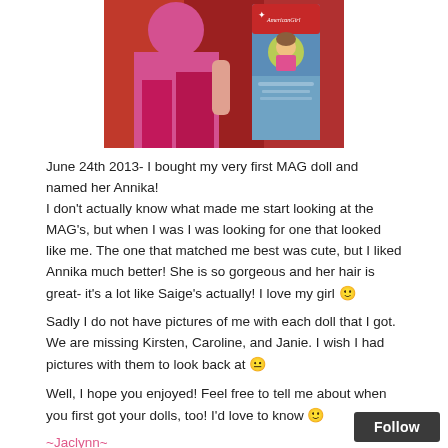[Figure (photo): Photo of a child holding an American Girl doll box with red background, the box shows the American Girl logo and a circular doll portrait on a blue/red package.]
June 24th 2013- I bought my very first MAG doll and named her Annika!
I don't actually know what made me start looking at the MAG's, but when I was I was looking for one that looked like me. The one that matched me best was cute, but I liked Annika much better! She is so gorgeous and her hair is great- it's a lot like Saige's actually! I love my girl 🙂
Sadly I do not have pictures of me with each doll that I got. We are missing Kirsten, Caroline, and Janie. I wish I had pictures with them to look back at 😐
Well, I hope you enjoyed! Feel free to tell me about when you first got your dolls, too! I'd love to know 🙂
~Jaclynn~
Follow